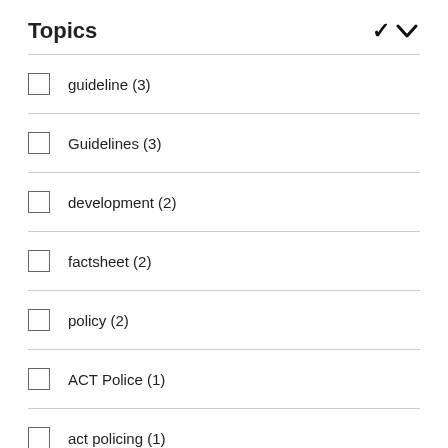Topics
guideline (3)
Guidelines (3)
development (2)
factsheet (2)
policy (2)
ACT Police (1)
act policing (1)
Agreement (1)